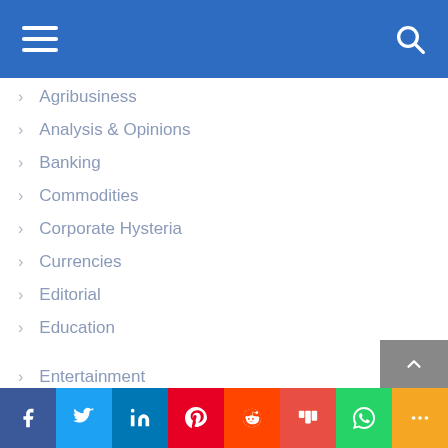Navigation menu with hamburger icon and search icon
Agribusiness
Analysis & Opinions
Banking
Commodities
Corporate Hysteria
Currencies
Editorial
Education
Entertainment
Entrepreneurship
Fashion
Social share bar: Facebook, Twitter, LinkedIn, Pinterest, Reddit, Mix, WhatsApp, More